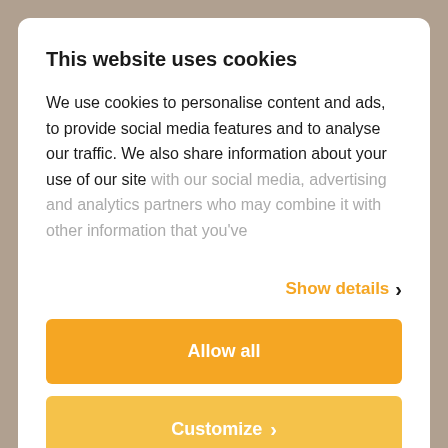This website uses cookies
We use cookies to personalise content and ads, to provide social media features and to analyse our traffic. We also share information about your use of our site with our social media, advertising and analytics partners who may combine it with other information that you've
Show details ›
Allow all
Customize ›
Powered by Cookiebot by Usercentrics